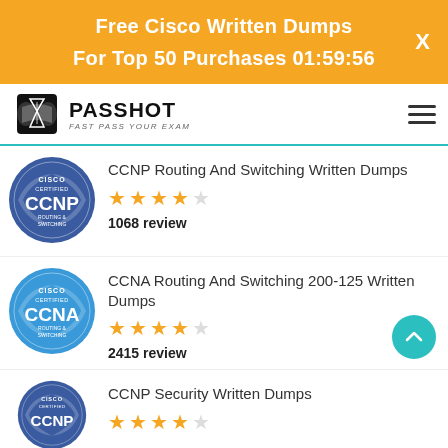Free Cisco Written Dumps For Top 50 Purchases 01:59:56
[Figure (logo): Passhot logo - Fast Pass Your Exam]
CCNP Routing And Switching Written Dumps
1068 review
[Figure (logo): Cisco Certified CCNP Routing & Switching badge]
CCNA Routing And Switching 200-125 Written Dumps
2415 review
[Figure (logo): Cisco Certified CCNA Routing & Switching badge]
CCNP Security Written Dumps
[Figure (logo): Cisco Certified CCNP badge]